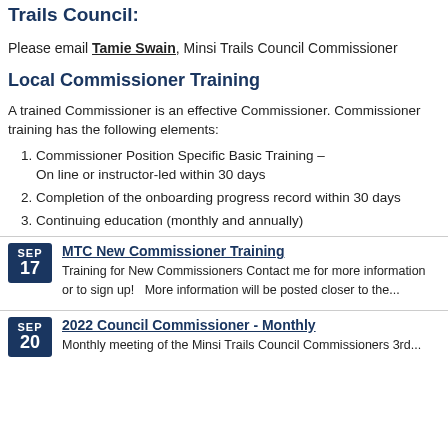Trails Council:
Please email Tamie Swain, Minsi Trails Council Commissioner
Local Commissioner Training
A trained Commissioner is an effective Commissioner. Commissioner training has the following elements:
Commissioner Position Specific Basic Training – On line or instructor-led within 30 days
Completion of the onboarding progress record within 30 days
Continuing education (monthly and annually)
MTC New Commissioner Training
SEP 17
Training for New Commissioners Contact me for more information or to sign up!   More information will be posted closer to the...
2022 Council Commissioner - Monthly
SEP 20
Monthly meeting of the Minsi Trails Council Commissioners 3rd...